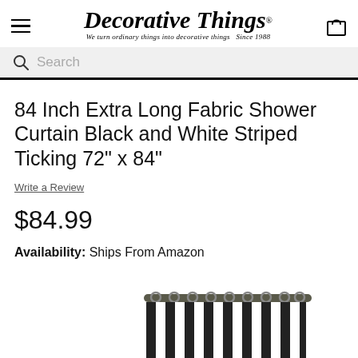Decorative Things® — We turn ordinary things into decorative things Since 1988
Search
84 Inch Extra Long Fabric Shower Curtain Black and White Striped Ticking 72" x 84"
Write a Review
$84.99
Availability: Ships From Amazon
[Figure (photo): Partial view of the black and white striped shower curtain product photo at the bottom of the page]